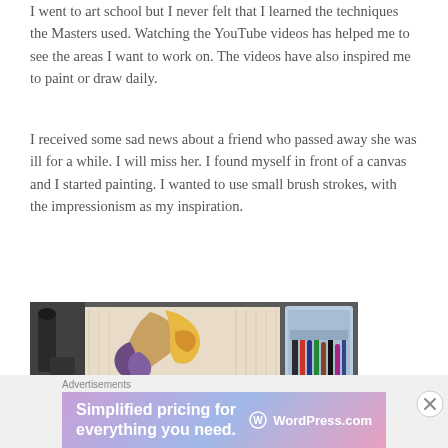I went to art school but I never felt that I learned the techniques the Masters used. Watching the YouTube videos has helped me to see the areas I want to work on. The videos have also inspired me to paint or draw daily.
I received some sad news about a friend who passed away she was ill for a while. I will miss her. I found myself in front of a canvas and I started painting. I wanted to use small brush strokes, with the impressionism as my inspiration.
[Figure (photo): Photo of a painting in progress on a canvas showing a figure with warm golden tones, surrounded by art supplies and paint tubes in a container.]
Advertisements — Simplified pricing for everything you need. WordPress.com